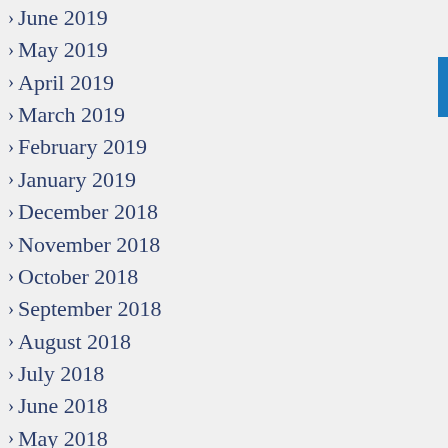June 2019
May 2019
April 2019
March 2019
February 2019
January 2019
December 2018
November 2018
October 2018
September 2018
August 2018
July 2018
June 2018
May 2018
April 2018
March 2018
February 2018
January 2018
December 2017